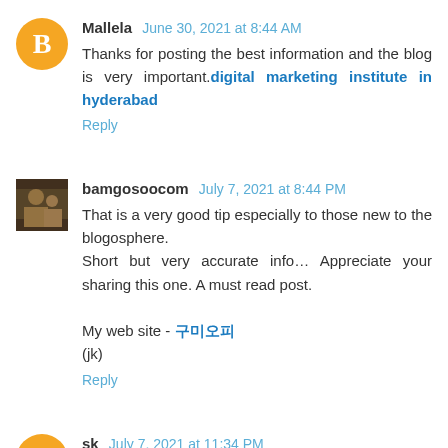Mallela June 30, 2021 at 8:44 AM
Thanks for posting the best information and the blog is very important.digital marketing institute in hyderabad
Reply
bamgosoocom July 7, 2021 at 8:44 PM
That is a very good tip especially to those new to the blogosphere.
Short but very accurate info… Appreciate your sharing this one. A must read post.
My web site - 구미오피
(jk)
Reply
sk July 7, 2021 at 11:34 PM
simply stumbled upon your weblog and wished to mention that I have really enjoyed surfing around your weblog posts.